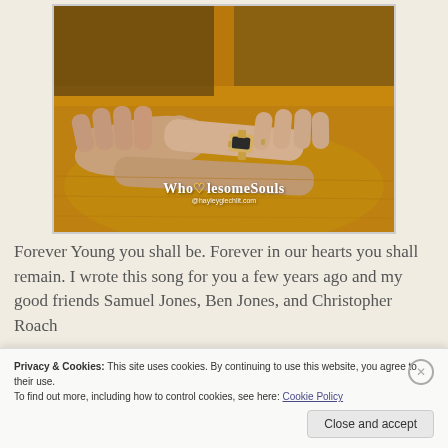[Figure (photo): Close-up photo of hands clasped together over a golden-yellow knitted sweater, with one person wearing a gold watch. Watermark reads 'WholesomeSouls' with '@hayleyglechlit.com' below.]
Forever Young you shall be. Forever in our hearts you shall remain. I wrote this song for you a few years ago and my good friends Samuel Jones, Ben Jones, and Christopher Roach
Privacy & Cookies: This site uses cookies. By continuing to use this website, you agree to their use.
To find out more, including how to control cookies, see here: Cookie Policy
Close and accept